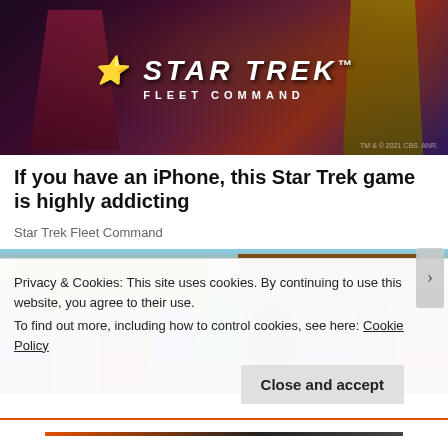[Figure (photo): Star Trek Fleet Command game advertisement banner with characters in Starfleet uniforms against a dark purple/red background]
If you have an iPhone, this Star Trek game is highly addicting
Star Trek Fleet Command
[Figure (photo): Group photo of seven people standing together in front of a mud-brick building with a metal roof]
Privacy & Cookies: This site uses cookies. By continuing to use this website, you agree to their use.
To find out more, including how to control cookies, see here: Cookie Policy
Close and accept